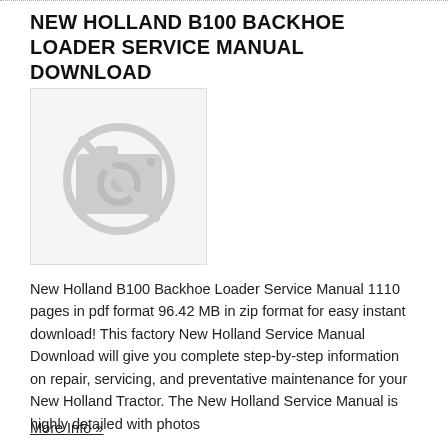NEW HOLLAND B100 BACKHOE LOADER SERVICE MANUAL DOWNLOAD
[Figure (illustration): Placeholder image with a camera icon crossed out by a diagonal line, indicating no image available]
New Holland B100 Backhoe Loader Service Manual 1110 pages in pdf format 96.42 MB in zip format for easy instant download! This factory New Holland Service Manual Download will give you complete step-by-step information on repair, servicing, and preventative maintenance for your New Holland Tractor. The New Holland Service Manual is highly detailed with photos
More Info »